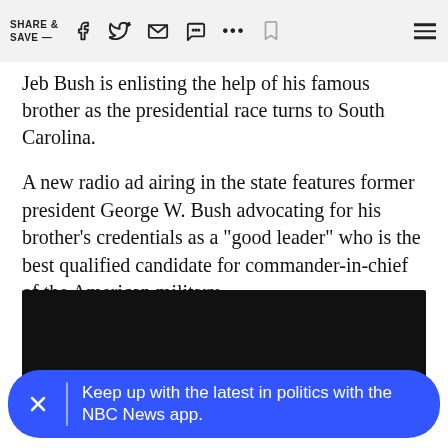SHARE & SAVE —
Jeb Bush is enlisting the help of his famous brother as the presidential race turns to South Carolina.
A new radio ad airing in the state features former president George W. Bush advocating for his brother's credentials as a "good leader" who is the best qualified candidate for commander-in-chief of the American military.
[Figure (other): Black video player embed area]
Keep up with the latest in politics with the NBC News app.